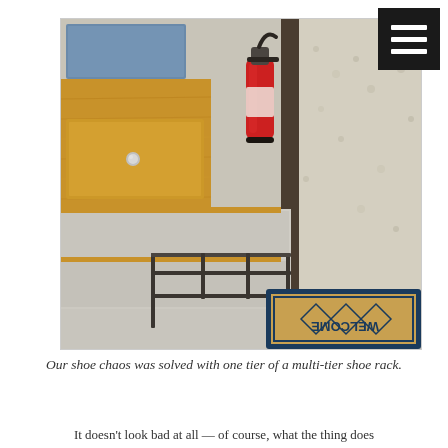[Figure (photo): Interior photo of an RV entryway showing carpeted steps with a metal one-tier shoe rack on the bottom step, a red fire extinguisher mounted on a post near the door, wooden cabinetry with a drawer knob on the left, a 'WELCOME' doormat visible at the bottom right, and gravel/outdoor area visible through the open door.]
Our shoe chaos was solved with one tier of a multi-tier shoe rack.
It doesn't look bad at all — of course, what the thing does